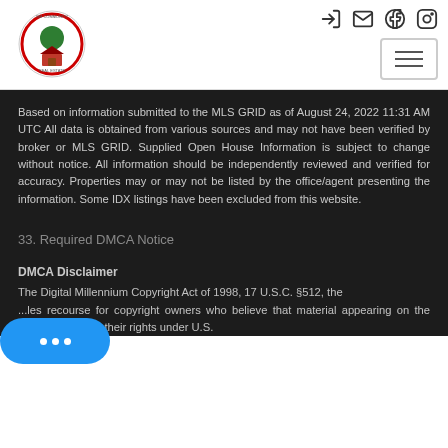[Figure (logo): GM Community Real Estate circular logo with tree and house]
Based on information submitted to the MLS GRID as of August 24, 2022 11:31 AM UTC All data is obtained from various sources and may not have been verified by broker or MLS GRID. Supplied Open House Information is subject to change without notice. All information should be independently reviewed and verified for accuracy. Properties may or may not be listed by the office/agent presenting the information. Some IDX listings have been excluded from this website.
33. Required DMCA Notice
DMCA Disclaimer
The Digital Millennium Copyright Act of 1998, 17 U.S.C. §512, the ...les recourse for copyright owners who believe that material appearing on the Internet infringes their rights under U.S.